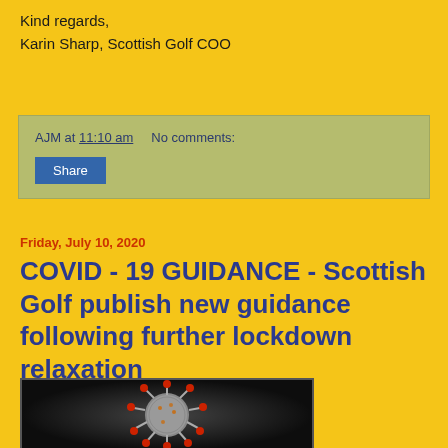Kind regards,
Karin Sharp, Scottish Golf COO
AJM at 11:10 am    No comments:
Share
Friday, July 10, 2020
COVID - 19 GUIDANCE - Scottish Golf publish new guidance following further lockdown relaxation
[Figure (photo): Microscopic image of COVID-19 coronavirus particle showing red spike proteins on gray spherical body against dark background]